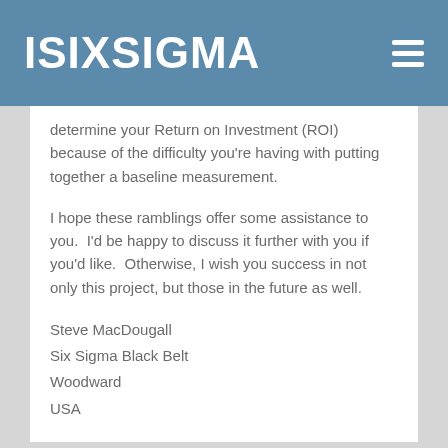ISIXSIGMA
determine your Return on Investment (ROI) because of the difficulty you're having with putting together a baseline measurement.
I hope these ramblings offer some assistance to you.  I'd be happy to discuss it further with you if you'd like.  Otherwise, I wish you success in not only this project, but those in the future as well.
Steve MacDougall
Six Sigma Black Belt
Woodward
USA